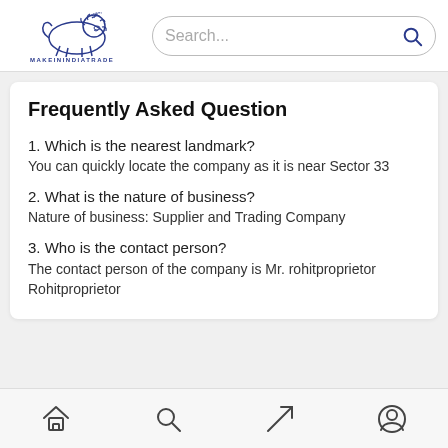[Figure (logo): MakeInIndiaTrade lion logo with text MAKENINDIACTRADE below]
Frequently Asked Question
1. Which is the nearest landmark?
You can quickly locate the company as it is near Sector 33
2. What is the nature of business?
Nature of business: Supplier and Trading Company
3. Who is the contact person?
The contact person of the company is Mr. rohitproprietor Rohitproprietor
[Figure (illustration): Bottom navigation bar with home, search, send/location, and profile icons]